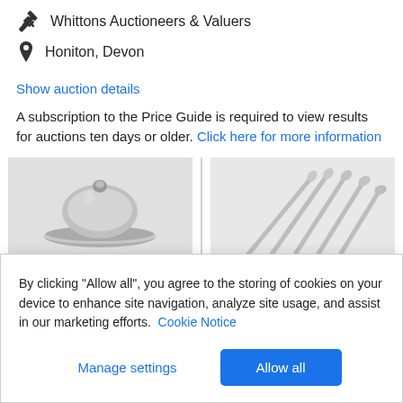Whittons Auctioneers & Valuers
Honiton, Devon
Show auction details
A subscription to the Price Guide is required to view results for auctions ten days or older. Click here for more information
[Figure (photo): Photo of a silver topped jar or dish lid on a grey background]
[Figure (photo): Photo of several silver spoons fanned out on a light grey background]
By clicking "Allow all", you agree to the storing of cookies on your device to enhance site navigation, analyze site usage, and assist in our marketing efforts. Cookie Notice
Manage settings
Allow all